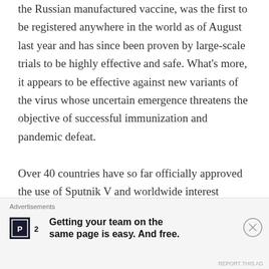the Russian manufactured vaccine, was the first to be registered anywhere in the world as of August last year and has since been proven by large-scale trials to be highly effective and safe. What's more, it appears to be effective against new variants of the virus whose uncertain emergence threatens the objective of successful immunization and pandemic defeat.

Over 40 countries have so far officially approved the use of Sputnik V and worldwide interest appears to be growing for deploying
Advertisements
Getting your team on the same page is easy. And free.